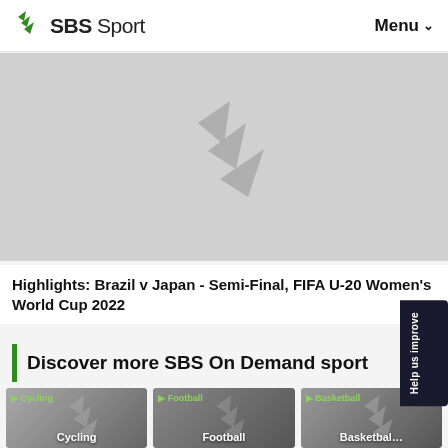SBS Sport | Menu
[Figure (photo): SBS Sport watermark logo on grey background, hero image placeholder for video highlight]
Highlights: Brazil v Japan - Semi-Final, FIFA U-20 Women's World Cup 2022
Discover more SBS On Demand sport
[Figure (photo): Cycling sport category card thumbnail]
[Figure (photo): Football sport category card thumbnail]
[Figure (photo): Basketball sport category card thumbnail]